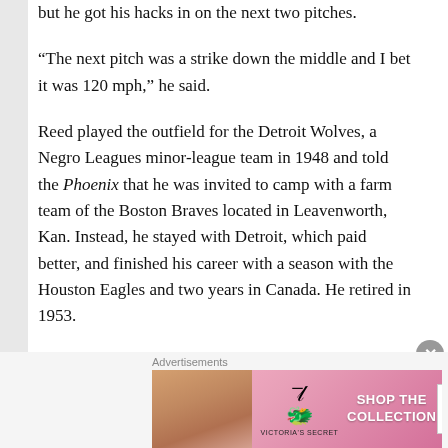but he got his hacks in on the next two pitches.
“The next pitch was a strike down the middle and I bet it was 120 mph,” he said.
Reed played the outfield for the Detroit Wolves, a Negro Leagues minor-league team in 1948 and told the Phoenix that he was invited to camp with a farm team of the Boston Braves located in Leavenworth, Kan. Instead, he stayed with Detroit, which paid better, and finished his career with a season with the Houston Eagles and two years in Canada. He retired in 1953.
Advertisements
[Figure (other): Victoria's Secret advertisement banner with a woman, VS logo, text 'SHOP THE COLLECTION', and 'SHOP NOW' button]